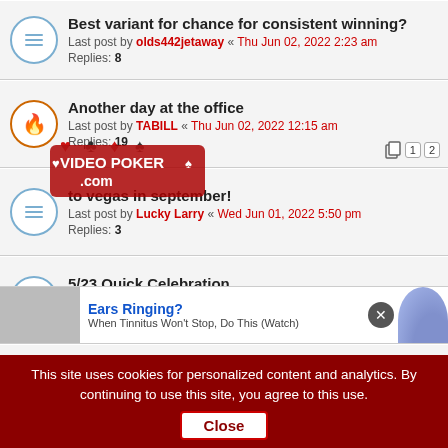Best variant for chance for consistent winning?
Last post by olds442jetaway « Thu Jun 02, 2022 2:23 am
Replies: 8
Another day at the office
Last post by TABILL « Thu Jun 02, 2022 12:15 am
Replies: 19
to vegas in september!
Last post by Lucky Larry « Wed Jun 01, 2022 5:50 pm
Replies: 3
5/23 Quick Celebration
Last post by olds442jetaway « Fri May 27, 2022 2:21 pm
Replies: 5
Changed to muti hand play
Last post by pokerpokerpoker « Thu May 26, 2022 8:31 am
Replies: 53
Big times
This site uses cookies for personalized content and analytics. By continuing to use this site, you agree to this use. Close